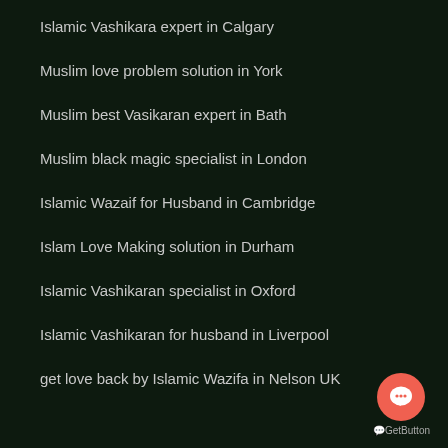Islamic Vashikara expert in Calgary
Muslim love problem solution in York
Muslim best Vasikaran expert in Bath
Muslim black magic specialist in London
Islamic Wazaif for Husband in Cambridge
Islam Love Making solution in Durham
Islamic Vashikaran specialist in Oxford
Islamic Vashikaran for husband in Liverpool
get love back by Islamic Wazifa in Nelson UK
[Figure (logo): GetButton chat widget button — coral/salmon circular button with speech bubble icon, labeled 'GetButton' below]